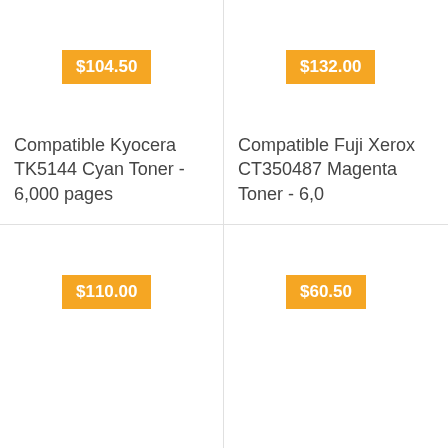$104.50
Compatible Kyocera TK5144 Cyan Toner - 6,000 pages
$132.00
Compatible Fuji Xerox CT350487 Magenta Toner - 6,0
$110.00
$60.50